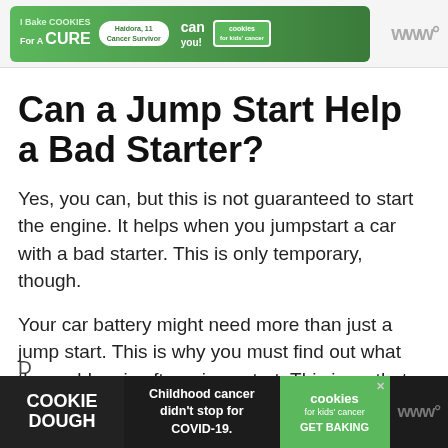[Figure (other): Advertisement banner for 'Bake Cookies for a Cure' charity campaign featuring Cookies for Kids' Cancer, with a green background and a person baking]
Can a Jump Start Help a Bad Starter?
Yes, you can, but this is not guaranteed to start the engine. It helps when you jumpstart a car with a bad starter. This is only temporary, though.
Your car battery might need more than just a jump start. This is why you must find out what the problem is after a jumpstart. This is so that you can avoid having to jump start again in the future.
[Figure (other): Bottom advertisement banner for Cookie Dough / Cookies for Kids' Cancer with text 'Childhood cancer didn't stop for COVID-19. GET BAKING']